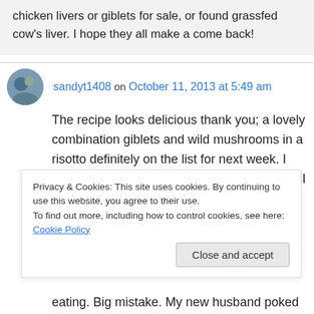chicken livers or giblets for sale, or found grassfed cow's liver. I hope they all make a come back!
sandyt1408 on October 11, 2013 at 5:49 am
The recipe looks delicious thank you; a lovely combination giblets and wild mushrooms in a risotto definitely on the list for next week. I had a similar experience 30 years ago when I crumbed lamb brains and served them up as an entree for
Privacy & Cookies: This site uses cookies. By continuing to use this website, you agree to their use.
To find out more, including how to control cookies, see here: Cookie Policy
eating. Big mistake. My new husband poked